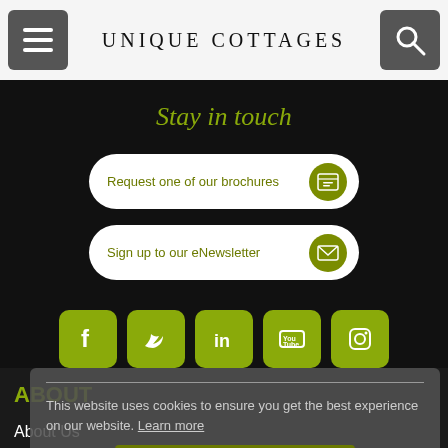UNIQUE COTTAGES
Stay in touch
Request one of our brochures
Sign up to our eNewsletter
[Figure (other): Social media icons row: Facebook, Twitter, LinkedIn, YouTube, Instagram]
This website uses cookies to ensure you get the best experience on our website. Learn more
ABOUT
About Us
Let Your Cottage
Newsletter